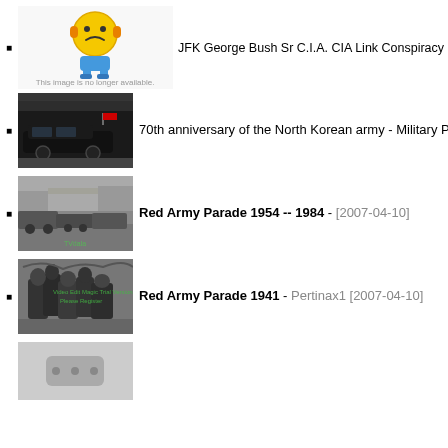[Figure (screenshot): Tinypic broken image placeholder with sad face emoji and text 'This image is no longer available. Visit tinypic.com for more information.']
JFK George Bush Sr C.I.A. CIA Link Conspiracy - jfkii.co
[Figure (screenshot): Thumbnail of a military parade with dark limousines on a street, 70th anniversary of North Korean army]
70th anniversary of the North Korean army - Military Par
[Figure (screenshot): Black and white thumbnail of Red Army Parade with trucks and military vehicles, TVdala watermark]
Red Army Parade 1954 -- 1984 - [2007-04-10]
[Figure (screenshot): Black and white thumbnail of Red Army Parade 1941 with soldiers, green watermark text overlay]
Red Army Parade 1941 - Pertinax1 [2007-04-10]
[Figure (screenshot): Partial grey thumbnail with ellipsis/more icon]